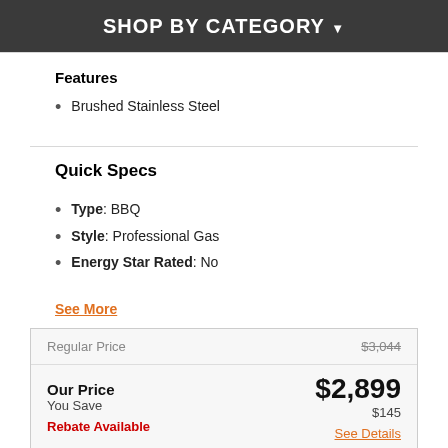SHOP BY CATEGORY
Features
Brushed Stainless Steel
Quick Specs
Type: BBQ
Style: Professional Gas
Energy Star Rated: No
See More
| Label | Value |
| --- | --- |
| Regular Price | $3,044 |
| Our Price | $2,899 |
| You Save | $145 |
| Rebate Available | See Details |
| CALL STORE TO CONFIRM AVAILABILITY |  |